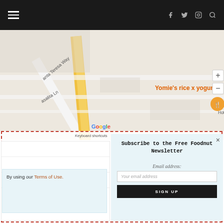Navigation bar with hamburger menu, social icons (f, twitter, instagram), and search
[Figure (map): Google Maps screenshot showing 'Yomie's rice x yogurt' location with street labels including 'anta Teresa Way', 'asalita Ln'. Shows Google logo, 'Keyboard shortcuts', 'Map data ©2022 Google', 'Terms of Use'. Map has zoom controls (+/-) on the right side.]
Subscribe to the Free Foodnut Newsletter
Email address:
Your email address
SIGN UP
By using our Terms of Use.